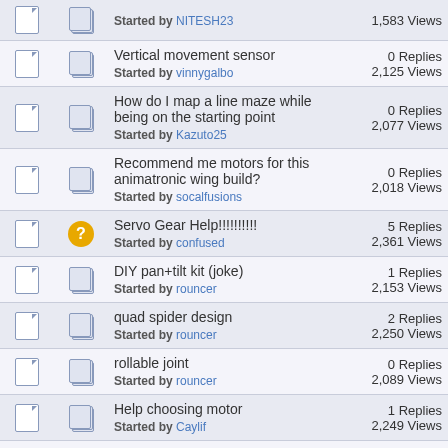|  |  | Topic | Stats |
| --- | --- | --- | --- |
|  |  | Vertical movement sensor
Started by vinnygalbo | 0 Replies
2,125 Views |
|  |  | How do I map a line maze while being on the starting point
Started by Kazuto25 | 0 Replies
2,077 Views |
|  |  | Recommend me motors for this animatronic wing build?
Started by socalfusions | 0 Replies
2,018 Views |
|  |  | Servo Gear Help!!!!!!!!!!!!
Started by confused | 5 Replies
2,361 Views |
|  |  | DIY pan+tilt kit (joke)
Started by rouncer | 1 Replies
2,153 Views |
|  |  | quad spider design
Started by rouncer | 2 Replies
2,250 Views |
|  |  | rollable joint
Started by rouncer | 0 Replies
2,089 Views |
|  |  | Help choosing motor
Started by Caylif | 1 Replies
2,249 Views |
|  |  | Very quiet, high torque 150rpm motor advice | 0 Replies |